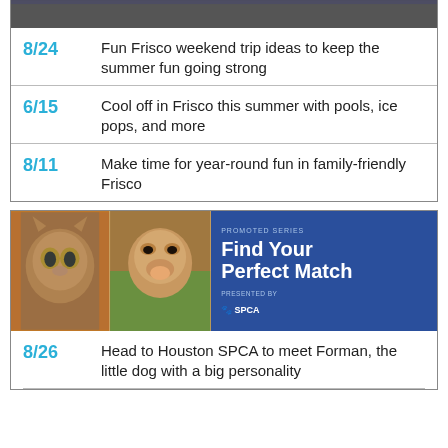[Figure (photo): Top photo banner, partially cut off at top of page]
8/24 Fun Frisco weekend trip ideas to keep the summer fun going strong
6/15 Cool off in Frisco this summer with pools, ice pops, and more
8/11 Make time for year-round fun in family-friendly Frisco
[Figure (photo): Promoted Series ad banner: photo of orange cat and tan dog on left, blue background on right with text 'PROMOTED SERIES Find Your Perfect Match PRESENTED BY SPCA']
8/26 Head to Houston SPCA to meet Forman, the little dog with a big personality